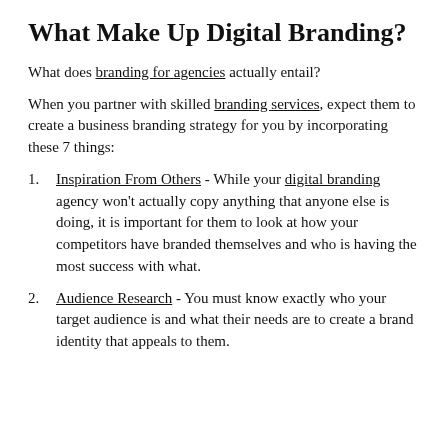What Make Up Digital Branding?
What does branding for agencies actually entail?
When you partner with skilled branding services, expect them to create a business branding strategy for you by incorporating these 7 things:
Inspiration From Others - While your digital branding agency won't actually copy anything that anyone else is doing, it is important for them to look at how your competitors have branded themselves and who is having the most success with what.
Audience Research - You must know exactly who your target audience is and what their needs are to create a brand identity that appeals to them.